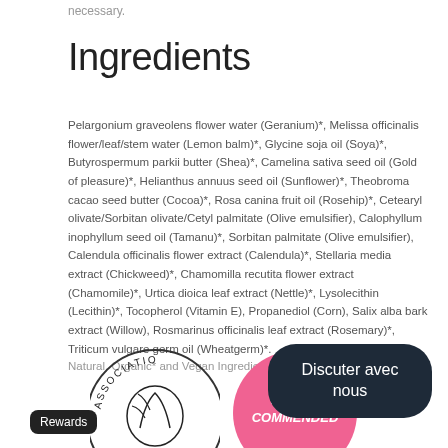necessary.
Ingredients
Pelargonium graveolens flower water (Geranium)*, Melissa officinalis flower/leaf/stem water (Lemon balm)*, Glycine soja oil (Soya)*, Butyrospermum parkii butter (Shea)*, Camelina sativa seed oil (Gold of pleasure)*, Helianthus annuus seed oil (Sunflower)*, Theobroma cacao seed butter (Cocoa)*, Rosa canina fruit oil (Rosehip)*, Cetearyl olivate/Sorbitan olivate/Cetyl palmitate (Olive emulsifier), Calophyllum inophyllum seed oil (Tamanu)*, Sorbitan palmitate (Olive emulsifier), Calendula officinalis flower extract (Calendula)*, Stellaria media extract (Chickweed)*, Chamomilla recutita flower extract (Chamomile)*, Urtica dioica leaf extract (Nettle)*, Lysolecithin (Lecithin)*, Tocopherol (Vitamin E), Propanediol (Corn), Salix alba bark extract (Willow), Rosmarinus officinalis leaf extract (Rosemary)*, Triticum vulgare germ oil (Wheatgerm)*.
Natural, Organic* and Vegan Ingredients.
[Figure (logo): Association logo circle, partially visible]
[Figure (logo): Highly Commended pink circle badge]
[Figure (other): Discuter avec nous dark rounded button]
Rewards